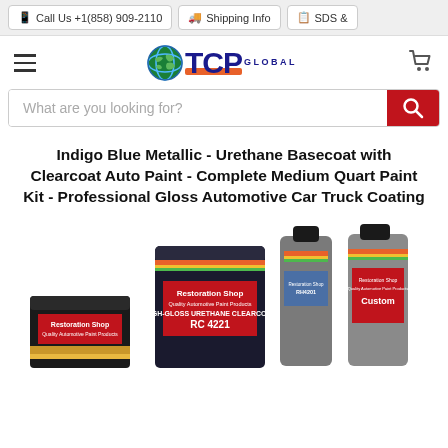Call Us +1(858) 909-2110 | Shipping Info | SDS &
[Figure (logo): TCP Global logo with globe icon, orange stripe, and cart icon]
What are you looking for?
Indigo Blue Metallic - Urethane Basecoat with Clearcoat Auto Paint - Complete Medium Quart Paint Kit - Professional Gloss Automotive Car Truck Coating
[Figure (photo): Restoration Shop paint product cans and bottles including RC4221 High-Gloss Urethane Clearcoat and Custom paint products]